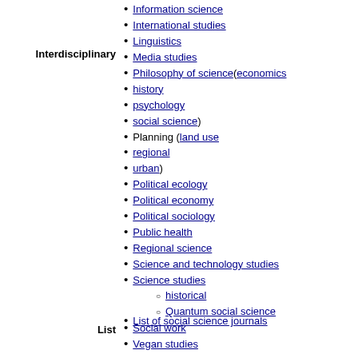Interdisciplinary
Information science
International studies
Linguistics
Media studies
Philosophy of science (economics
history
psychology
social science)
Planning (land use
regional
urban)
Political ecology
Political economy
Political sociology
Public health
Regional science
Science and technology studies
Science studies
historical
Quantum social science
Social work
Vegan studies
List
List of social science journals